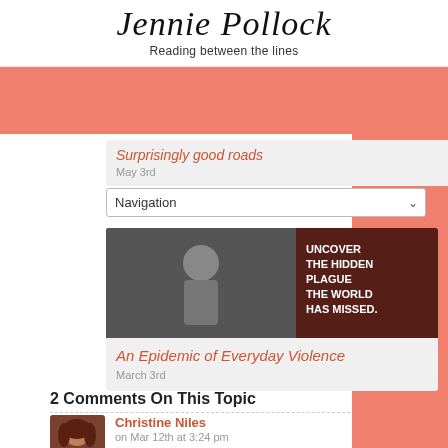Jennie Pollock — Reading between the lines
[Figure (screenshot): Navigation dropdown menu showing 'Navigation' with a chevron arrow]
Surprisingly good roads
May 3rd
[Figure (photo): Black and white photo of a person standing outdoors with text overlay: UNCOVER THE HIDDEN PLAGUE THE WORLD HAS MISSED.]
An Epidemic of Everyday Violence
March 3rd
2 Comments On This Topic
Christine Niles
on Mar 12th at 3:24 pm